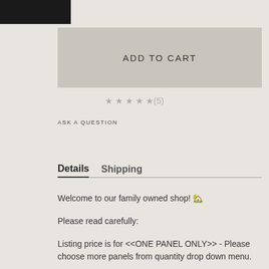[Figure (other): Black rectangular bar in upper left corner]
ADD TO CART
★★★★★(5)
ASK A QUESTION
Details   Shipping
Welcome to our family owned shop! 🏡
Please read carefully:
Listing price is for <<ONE PANEL ONLY>> - Please choose more panels from quantity drop down menu.